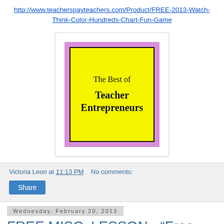http://www.teacherspayteachers.com/Product/FREE-2013-Watch-Think-Color-Hundreds-Chart-Fun-Game
[Figure (illustration): The Best of Teacher Entrepreneurs logo: white card with pink/purple border containing a yellow rectangle with black border. Text reads 'The Best of Teacher Entrepreneurs' with a faint camera watermark.]
Victoria Leon at 11:13 PM   No comments:
Share
Wednesday, February 20, 2013
FREE MISC. LESSON - "Free Music